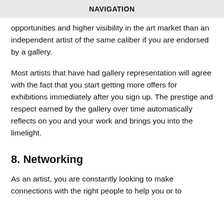NAVIGATION
opportunities and higher visibility in the art market than an independent artist of the same caliber if you are endorsed by a gallery.
Most artists that have had gallery representation will agree with the fact that you start getting more offers for exhibitions immediately after you sign up. The prestige and respect earned by the gallery over time automatically reflects on you and your work and brings you into the limelight.
8. Networking
As an artist, you are constantly looking to make connections with the right people to help you or to